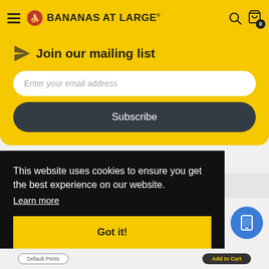BANANAS AT LARGE
Join our mailing list
Enter your email address
Subscribe
This website uses cookies to ensure you get the best experience on our website.
Learn more
Got it!